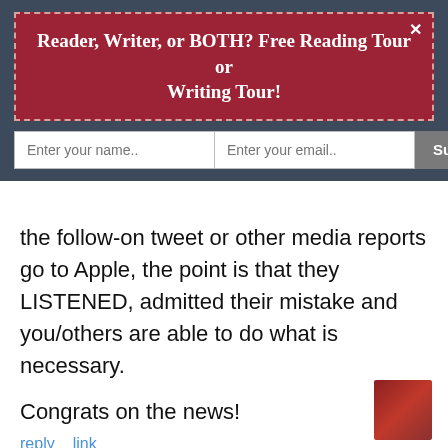Reader, Writer, or BOTH? Free Reading Tour or Writing Tour!
the follow-on tweet or other media reports go to Apple, the point is that they LISTENED, admitted their mistake and you/others are able to do what is necessary.
Congrats on the news!
reply   link
[Figure (illustration): Support me button with Ko-fi cup icon on orange rounded button]
[Figure (photo): Small avatar photo of a woman with dark hair]